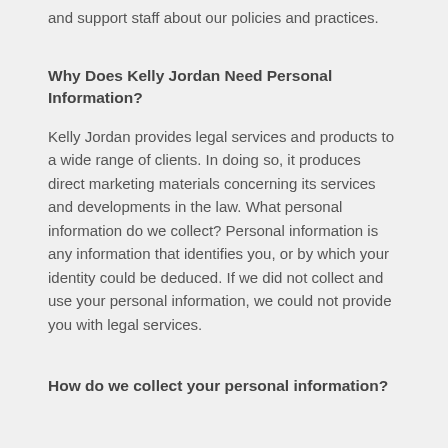and support staff about our policies and practices.
Why Does Kelly Jordan Need Personal Information?
Kelly Jordan provides legal services and products to a wide range of clients. In doing so, it produces direct marketing materials concerning its services and developments in the law. What personal information do we collect? Personal information is any information that identifies you, or by which your identity could be deduced. If we did not collect and use your personal information, we could not provide you with legal services.
How do we collect your personal information?